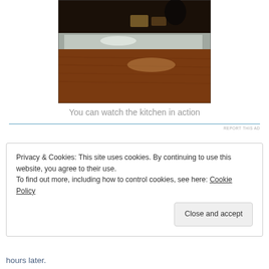[Figure (photo): A restaurant kitchen counter/bar with a wooden surface visible in the foreground. The upper portion shows a stainless steel kitchen area with food items and equipment. Dark background with overhead lighting.]
You can watch the kitchen in action
REPORT THIS AD
Privacy & Cookies: This site uses cookies. By continuing to use this website, you agree to their use.
To find out more, including how to control cookies, see here: Cookie Policy
Close and accept
hours later.